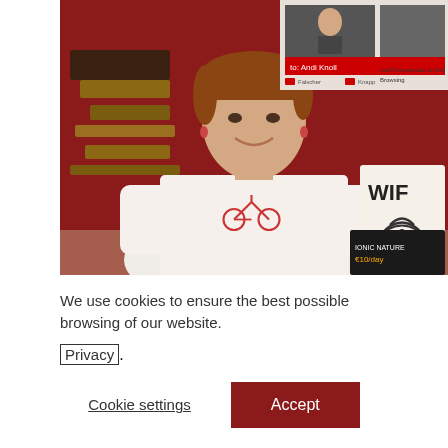[Figure (photo): A woman with short reddish-brown hair wearing a white t-shirt with a red bicycle graphic stands in front of a red wall. Behind her is a wooden shelf display and a WiFi sign. A YouTube video preview screen is visible in the upper right corner showing 'to: Andi Knoll' on a red bar.]
We use cookies to ensure the best possible browsing of our website. Privacy.
Cookie settings
Accept